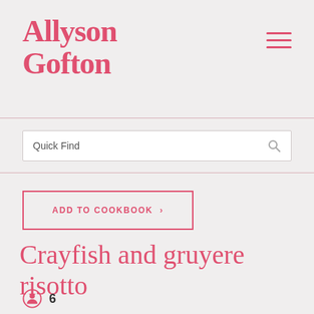[Figure (logo): Allyson Gofton brand logo in serif red/pink font]
Quick Find
ADD TO COOKBOOK >
Crayfish and gruyere risotto
6